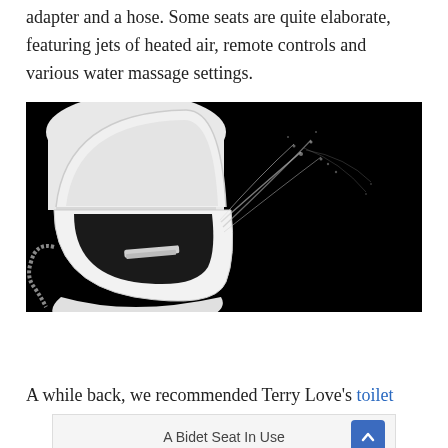adapter and a hose. Some seats are quite elaborate, featuring jets of heated air, remote controls and various water massage settings.
[Figure (photo): A bidet toilet seat with the lid open, showing a water spray nozzle in action against a black background. A flexible metal hose is visible on the left side.]
A Bidet Seat In Use
A while back, we recommended Terry Love's toilet